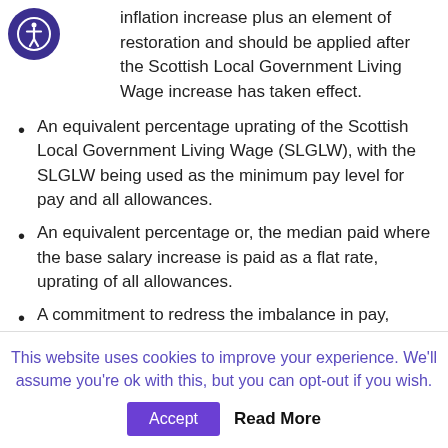inflation increase plus an element of restoration and should be applied after the Scottish Local Government Living Wage increase has taken effect.
An equivalent percentage uprating of the Scottish Local Government Living Wage (SLGLW), with the SLGLW being used as the minimum pay level for pay and all allowances.
An equivalent percentage or, the median paid where the base salary increase is paid as a flat rate, uprating of all allowances.
A commitment to redress the imbalance in pay,
This website uses cookies to improve your experience. We'll assume you're ok with this, but you can opt-out if you wish.